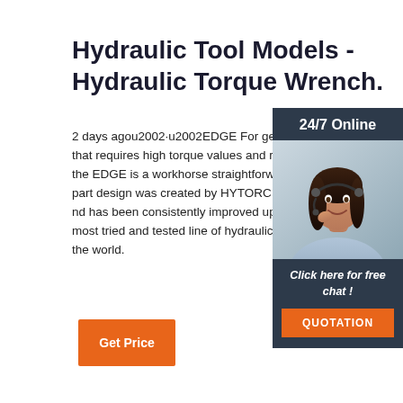Hydraulic Tool Models - Hydraulic Torque Wrench.
2 days agou2002·u2002EDGE For general maintenance that requires high torque values and repeatable results, the EDGE is a workhorse straightforward three-moving-part design was created by HYTORC over 30 years ago and has been consistently improved upon resulting in the most tried and tested line of hydraulic torque wrenches in the world.
[Figure (photo): Customer support representative with headset, smiling, used as a chat widget with '24/7 Online' header and 'Click here for free chat!' call to action button labeled QUOTATION]
Get Price